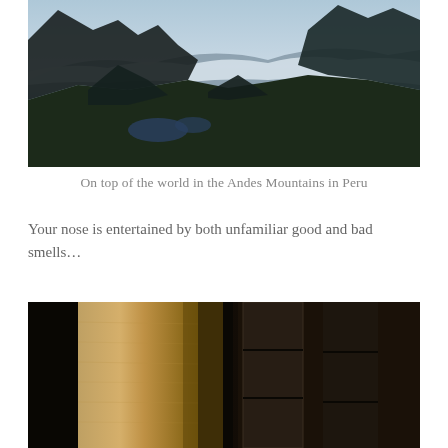[Figure (photo): Panoramic view from high altitude in the Andes Mountains in Peru. Dark mountain silhouettes frame a valley below with small lakes. Clouds drift across the middle distance creating a dramatic atmospheric effect. Sky is light blue at the top.]
On top of the world in the Andes Mountains in Peru
Your nose is entertained by both unfamiliar good and bad smells…
[Figure (photo): Close-up photograph of stone or wooden columns/pillars. On the left, a rough-textured tan/beige column is lit from one side. On the right, darker stone block columns are visible in shadow, suggesting an ancient structure or ruin.]